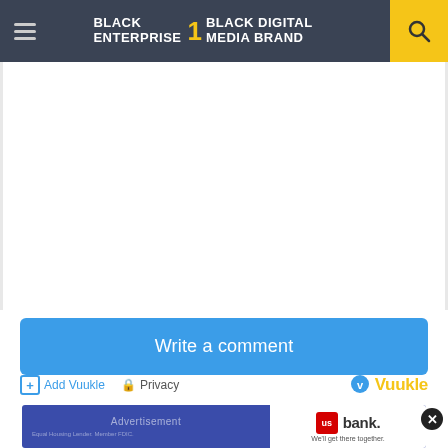BLACK ENTERPRISE THE #1 BLACK DIGITAL MEDIA BRAND
[Figure (screenshot): White empty content area, likely a comment/discussion section]
Write a comment
Add Vuukle  Privacy  Vuukle
[Figure (other): US Bank advertisement banner with text 'Advertisement' and tagline 'We'll get there together.' Equal Housing Lender. Member FDIC.]